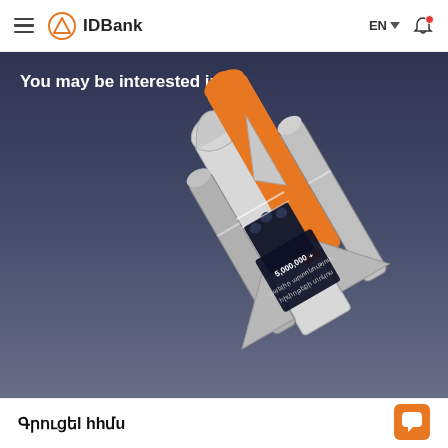IDBank | EN
You may be interested in
[Figure (illustration): Illustration of a space shuttle launching, with orange boosters and dark navy body. Armenian text on the shuttle body reads '5,000,000 s' and additional Armenian text. The background is a blue-grey gradient sky.]
Գրուցեl hhմu